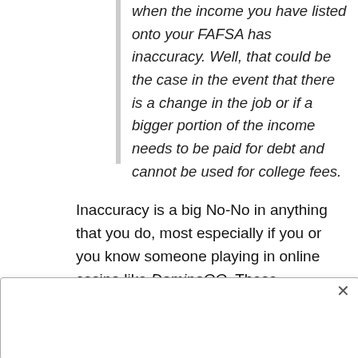when the income you have listed onto your FAFSA has inaccuracy. Well, that could be the case in the event that there is a change in the job or if a bigger portion of the income needs to be paid for debt and cannot be used for college fees.
Inaccuracy is a big No-No in anything that you do, most especially if you or you know someone playing in online casino like DominoQQ. These